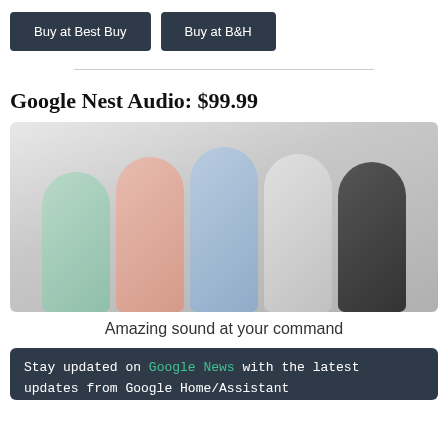Buy at Best Buy
Buy at B&H
Google Nest Audio: $99.99
[Figure (photo): Five Google Nest Audio smart speakers in different colors (sage green, pink, sky blue, chalk white, charcoal dark) arranged side by side on a light surface against a blurred gray background.]
Amazing sound at your command
Stay updated on Google News with the latest updates from Google Home/Assistant